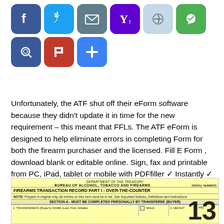[Figure (infographic): Row of social sharing icons: Facebook, Twitter, Email, Yahoo, Flipboard-style, Green icon, Search icon, Pixiv-P icon, and a plus/more button. All rounded square icons in various colors.]
Unfortunately, the ATF shut off their eForm software because they didn't update it in time for the new requirement – this meant that FFLs. The ATF eForm is designed to help eliminate errors in completing Form for both the firearm purchaser and the licensed. Fill E Form , download blank or editable online. Sign, fax and printable from PC, iPad, tablet or mobile with PDFfiller ✓ Instantly ✓ No software. Try Now!.
[Figure (screenshot): Partial image of ATF Form 4473 - Firearms Transaction Record Part I - Over-The-Counter. Yellow background form showing bureau name, form title, note about completing in ink, Section A for transferee, fields for name, height, weight, with a large watermark number 13.]